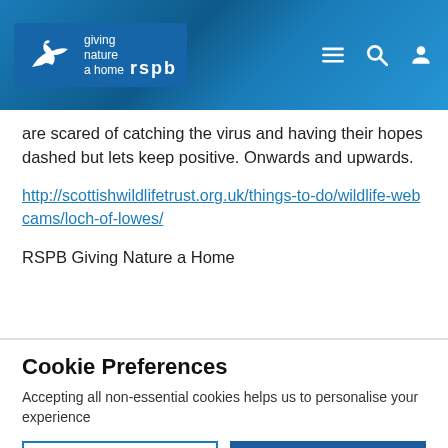[Figure (logo): RSPB logo with bird silhouette and tagline 'giving nature a home' on blue textured header background with menu, search, and user icons]
are scared of catching the virus and having their hopes dashed but lets keep positive. Onwards and upwards.
http://scottishwildlifetrust.org.uk/things-to-do/wildlife-webcams/loch-of-lowes/
RSPB Giving Nature a Home
Cookie Preferences
Accepting all non-essential cookies helps us to personalise your experience
EDIT SETTINGS
ACCEPT ALL